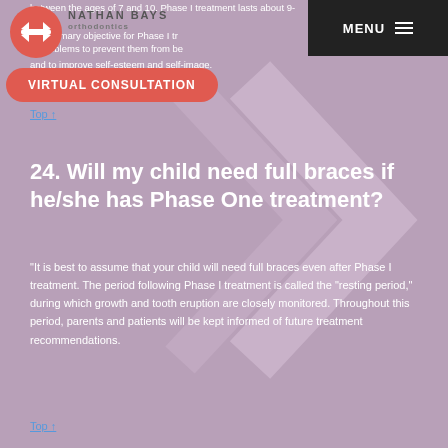NATHAN BAYS orthodontics | MENU
between the ages of 7 and 10. Phase I treatment lasts about 9-12 ... The primary objective for Phase I tr... nt problems to prevent them from becoming more severe... and to improve self-esteem and self-image.
VIRTUAL CONSULTATION
Top ↑
24. Will my child need full braces if he/she has Phase One treatment?
“It is best to assume that your child will need full braces even after Phase I treatment. The period following Phase I treatment is called the “resting period,” during which growth and tooth eruption are closely monitored. Throughout this period, parents and patients will be kept informed of future treatment recommendations.
Top ↑